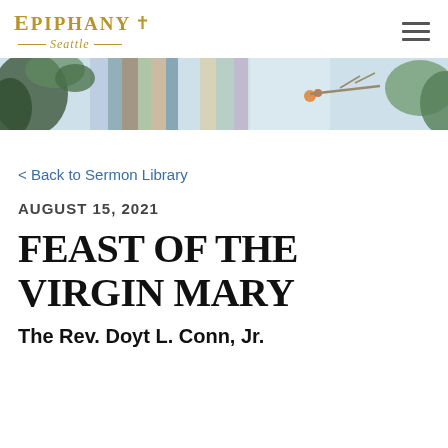Epiphany ✝ Seattle
[Figure (illustration): Colorful abstract/landscape banner artwork with blues, greens, and warm tones suggesting foliage and sky]
< Back to Sermon Library
AUGUST 15, 2021
FEAST OF THE VIRGIN MARY
The Rev. Doyt L. Conn, Jr.